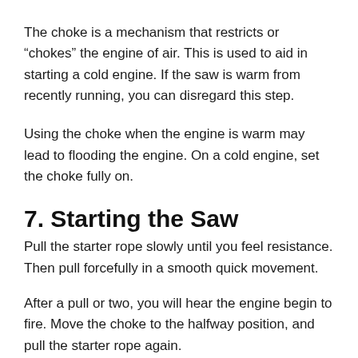The choke is a mechanism that restricts or “chokes” the engine of air. This is used to aid in starting a cold engine. If the saw is warm from recently running, you can disregard this step.
Using the choke when the engine is warm may lead to flooding the engine. On a cold engine, set the choke fully on.
7. Starting the Saw
Pull the starter rope slowly until you feel resistance. Then pull forcefully in a smooth quick movement.
After a pull or two, you will hear the engine begin to fire. Move the choke to the halfway position, and pull the starter rope again.